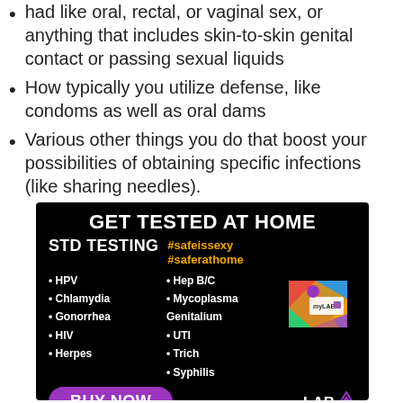had like oral, rectal, or vaginal sex, or anything that includes skin-to-skin genital contact or passing sexual liquids
How typically you utilize defense, like condoms as well as oral dams
Various other things you do that boost your possibilities of obtaining specific infections (like sharing needles).
[Figure (infographic): Black background advertisement for myLAB Box home STD testing. Title: GET TESTED AT HOME. Subtitle: STD TESTING with hashtags #safeissexy #saferathome in orange. Lists STDs tested: HPV, Chlamydia, Gonorrhea, HIV, Herpes, Hep B/C, Mycoplasma Genitalium, UTI, Trich, Syphilis. Shows colorful myLAB Box product image. Purple BUY NOW button at bottom. myLAB Box logo at bottom right.]